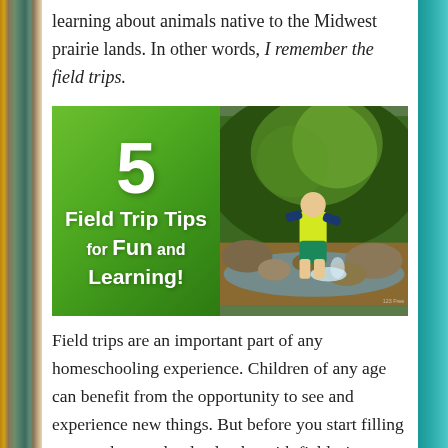learning about animals native to the Midwest prairie lands. In other words, I remember the field trips.
[Figure (illustration): Composite image: left half is a green graphic panel with white bold text reading '5 Field Trip Tips for Fun and Learning!'; right half is a photo of a young child in a yellow shirt and teal shorts wading in a rocky stream in a wooded area, splashing water.]
Field trips are an important part of any homeschooling experience. Children of any age can benefit from the opportunity to see and experience new things. But before you start filling up your homeschool calendar with field trips, consider these tips